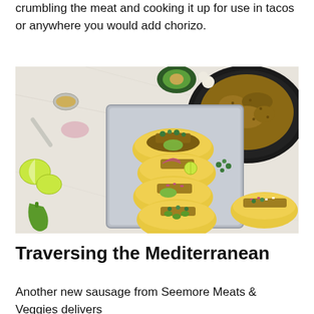crumbling the meat and cooking it up for use in tacos or anywhere you would add chorizo.
[Figure (photo): Overhead view of four tacos filled with seasoned crumbled meat, avocado, herbs, red onion, and jalapeno arranged in a metal tray on a marble surface, with a cast iron skillet of browned crumbled meat, lime wedges, garlic, and toppings surrounding the tray.]
Traversing the Mediterranean
Another new sausage from Seemore Meats & Veggies delivers